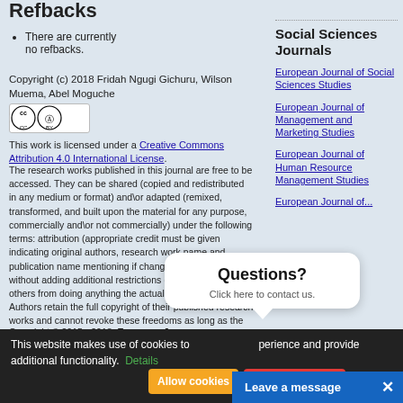Refbacks
There are currently no refbacks.
Copyright (c) 2018 Fridah Ngugi Gichuru, Wilson Muema, Abel Moguche
[Figure (logo): Creative Commons Attribution (CC BY) license badge]
This work is licensed under a Creative Commons Attribution 4.0 International License.
The research works published in this journal are free to be accessed. They can be shared (copied and redistributed in any medium or format) and\or adapted (remixed, transformed, and built upon the material for any purpose, commercially and\or not commercially) under the following terms: attribution (appropriate credit must be given indicating original authors, research work name and publication name mentioning if changes were made) and without adding additional restrictions (without restricting others from doing anything the actual license permits). Authors retain the full copyright of their published research works and cannot revoke these freedoms as long as the license terms are followed.
Copyright © 2015 - 2018. European J...
Social Sciences Journals
European Journal of Social Sciences Studies
European Journal of Management and Marketing Studies
European Journal of Human Resource Management Studies
European Journal of...
This website makes use of cookies to ... perience and provide additional functionality. Details
[Figure (screenshot): Questions? Click here to contact us. popup bubble]
Allow cookies
Disallow cookies
Leave a message